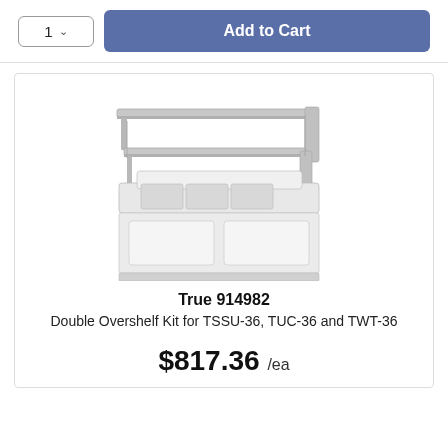[Figure (screenshot): Add to Cart UI with quantity selector showing '1' and a blue 'Add to Cart' button]
[Figure (photo): Product image of True 914982 Double Overshelf Kit mounted above a refrigerated prep table]
True 914982
Double Overshelf Kit for TSSU-36, TUC-36 and TWT-36
$817.36 /ea